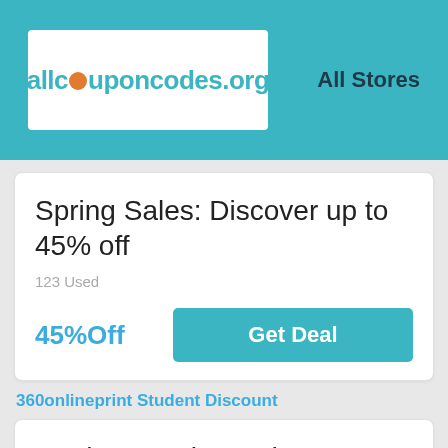allcouponcodes.org  All Stores
Spring Sales: Discover up to 45% off
123 Used
45%Off
Get Deal
360onlineprint Student Discount
Students Only: Redeem 10% off